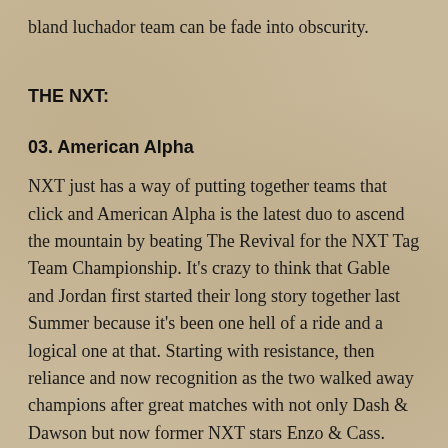bland luchador team can be fade into obscurity.
THE NXT:
03. American Alpha
NXT just has a way of putting together teams that click and American Alpha is the latest duo to ascend the mountain by beating The Revival for the NXT Tag Team Championship. It's crazy to think that Gable and Jordan first started their long story together last Summer because it's been one hell of a ride and a logical one at that. Starting with resistance, then reliance and now recognition as the two walked away champions after great matches with not only Dash & Dawson but now former NXT stars Enzo & Cass.
02. Samoa Joe
I said last week that I was finally coming around to the idea of Samoa Joe in NXT and it seems like perfect